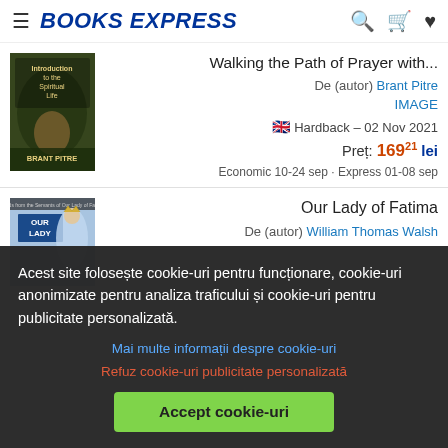BOOKS EXPRESS
[Figure (illustration): Book cover: Introduction to the Spiritual Life by Brant Pitre]
Walking the Path of Prayer with...
De (autor) Brant Pitre
IMAGE
Hardback – 02 Nov 2021
Preț: 169²¹ lei
Economic 10-24 sep · Express 01-08 sep
[Figure (illustration): Book cover: Our Lady of Fatima]
Our Lady of Fatima
De (autor) William Thomas Walsh
Acest site folosește cookie-uri pentru funcționare, cookie-uri anonimizate pentru analiza traficului și cookie-uri pentru publicitate personalizată.
Mai multe informații despre cookie-uri
Refuz cookie-uri publicitate personalizată
Accept cookie-uri